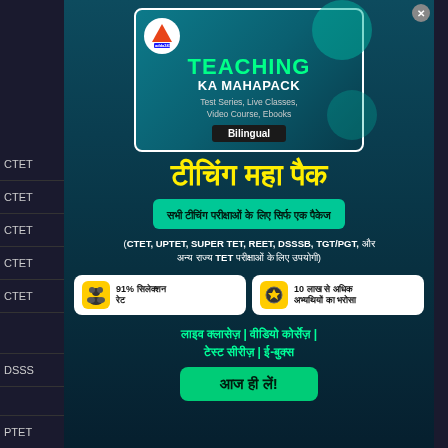[Figure (screenshot): Adda247 Teaching Ka Mahapack advertisement popup showing product card with logo, Hindi heading, features, stats, and CTA button]
TEACHING KA MAHAPACK
Test Series, Live Classes, Video Course, Ebooks
Bilingual
टीचिंग महा पैक
सभी टीचिंग परीक्षाओं के लिए सिर्फ एक पैकेज
(CTET, UPTET, SUPER TET, REET, DSSSB, TGT/PGT, और अन्य राज्य TET परीक्षाओं के लिए उपयोगी)
91% सिलेक्शन रेट
10 लाख से अधिक अभ्यथियों का भरोसा
लाइव क्लासेज़ | वीडियो कोर्सेज़ | टेस्ट सीरीज़ | ई-बुक्स
आज ही लें!